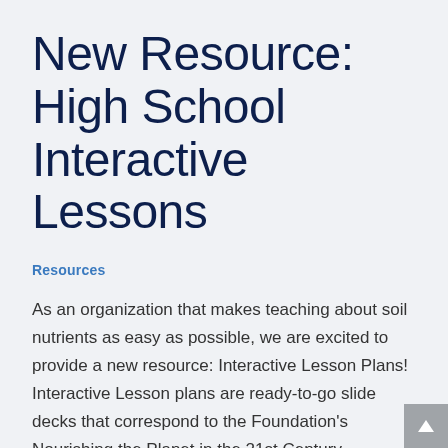New Resource: High School Interactive Lessons
Resources
As an organization that makes teaching about soil nutrients as easy as possible, we are excited to provide a new resource: Interactive Lesson Plans! Interactive Lesson plans are ready-to-go slide decks that correspond to the Foundation's Nourishing the Planet in the 21st Century curriculum. Available via download, the Interactive Lessons provide